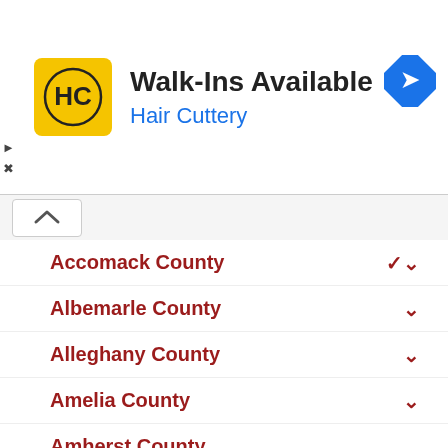[Figure (logo): Hair Cuttery advertisement banner with HC logo, Walk-Ins Available text, and navigation icon]
Accomack County
Albemarle County
Alleghany County
Amelia County
Amherst County
Appomattox County
Arlington County
Augusta County
Bath County